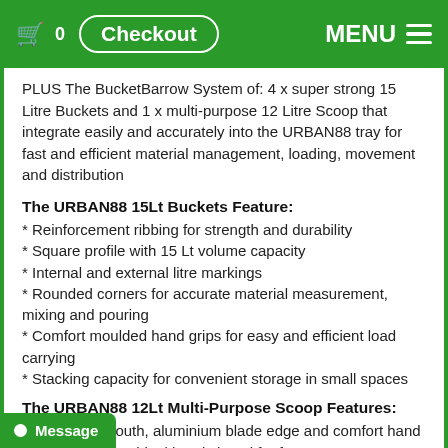Checkout MENU
PLUS The BucketBarrow System of: 4 x super strong 15 Litre Buckets and 1 x multi-purpose 12 Litre Scoop that integrate easily and accurately into the URBAN88 tray for fast and efficient material management, loading, movement and distribution
The URBAN88 15Lt Buckets Feature:
* Reinforcement ribbing for strength and durability
* Square profile with 15 Lt volume capacity
* Internal and external litre markings
* Rounded corners for accurate material measurement, mixing and pouring
* Comfort moulded hand grips for easy and efficient load carrying
* Stacking capacity for convenient storage in small spaces
The URBAN88 12Lt Multi-Purpose Scoop Features:
hened wide mouth, aluminium blade edge and comfort hand grip making it an ideal hand shovel for fast